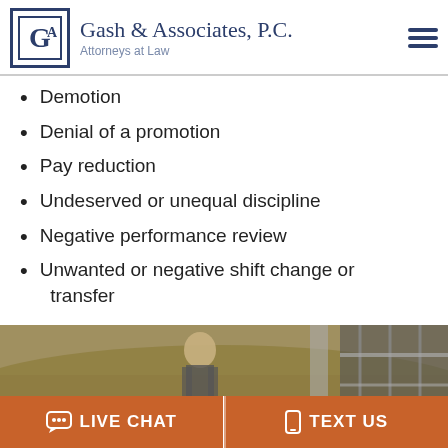Gash & Associates, P.C. — Attorneys at Law
Demotion
Denial of a promotion
Pay reduction
Undeserved or unequal discipline
Negative performance review
Unwanted or negative shift change or transfer
[Figure (photo): Outdoor photo of a woman in a striped shirt standing near a hillside with stairs/railing in the background]
LIVE CHAT  |  TEXT US